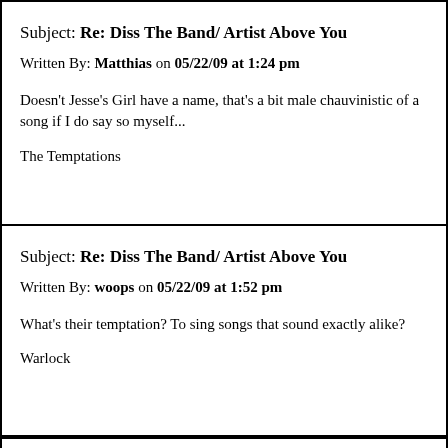Subject: Re: Diss The Band/ Artist Above You
Written By: Matthias on 05/22/09 at 1:24 pm
Doesn't Jesse's Girl have a name, that's a bit male chauvinistic of a song if I do say so myself...
The Temptations
Subject: Re: Diss The Band/ Artist Above You
Written By: woops on 05/22/09 at 1:52 pm
What's their temptation? To sing songs that sound exactly alike?
Warlock